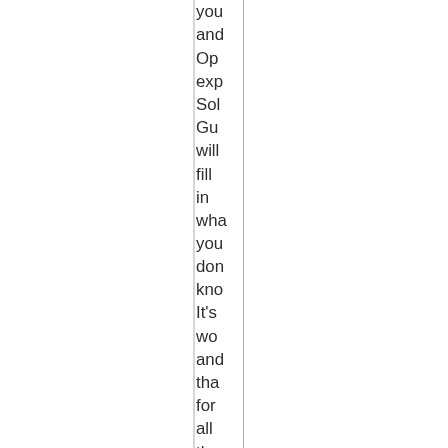you and Op exp Sol Gu will fill in wha you don kno It's wo and tha for all the har wo you